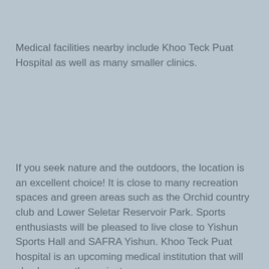Medical facilities nearby include Khoo Teck Puat Hospital as well as many smaller clinics.
If you seek nature and the outdoors, the location is an excellent choice! It is close to many recreation spaces and green areas such as the Orchid country club and Lower Seletar Reservoir Park. Sports enthusiasts will be pleased to live close to Yishun Sports Hall and SAFRA Yishun. Khoo Teck Puat hospital is an upcoming medical institution that will also be near the project.